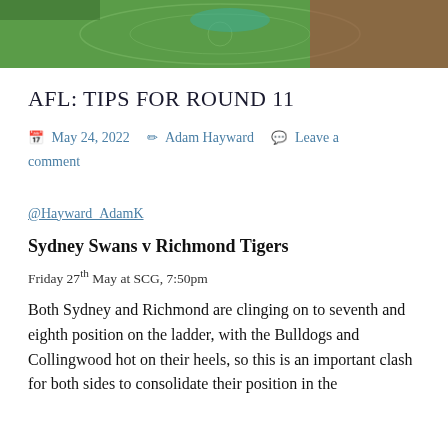[Figure (photo): Aerial view of an AFL football ground with green oval and crowd in the stands on the right side]
AFL: TIPS FOR ROUND 11
May 24, 2022   Adam Hayward   Leave a comment
@Hayward_AdamK
Sydney Swans v Richmond Tigers
Friday 27th May at SCG, 7:50pm
Both Sydney and Richmond are clinging on to seventh and eighth position on the ladder, with the Bulldogs and Collingwood hot on their heels, so this is an important clash for both sides to consolidate their position in the